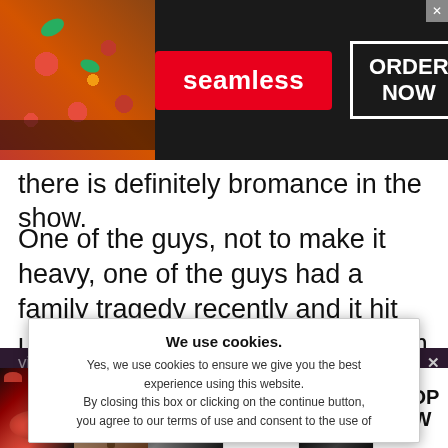[Figure (screenshot): Seamless food delivery advertisement banner with pizza image, red Seamless badge, and ORDER NOW button on dark background]
there is definitely bromance in the show.
One of the guys, not to make it heavy, one of the guys had a family tragedy recently and it hit us all so hard. He came back from
[Figure (screenshot): Dark section showing obscured article text about visiting his family and the last number in the show]
[Figure (screenshot): Cookie consent modal overlay: We use cookies. Yes, we use cookies to ensure we give you the best experience using this website. By closing this box or clicking on the continue button, you agree to our terms of use and consent to the use of]
[Figure (screenshot): Ulta Beauty advertisement banner with makeup images (lips, brush, eye) and SHOP NOW text]